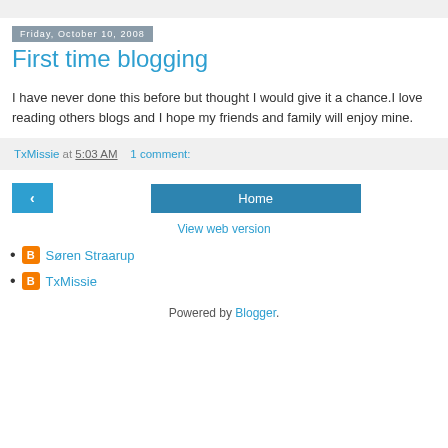Friday, October 10, 2008
First time blogging
I have never done this before but thought I would give it a chance.I love reading others blogs and I hope my friends and family will enjoy mine.
TxMissie at 5:03 AM    1 comment:
< Home View web version
Søren Straarup
TxMissie
Powered by Blogger.